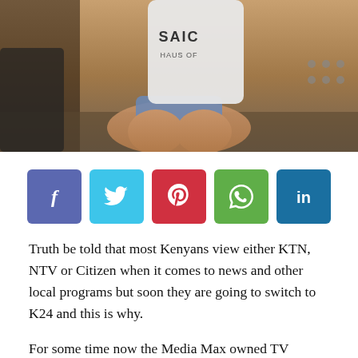[Figure (photo): Photo of a person crouching, wearing a white t-shirt with 'SAIC' text, denim shorts, outdoors near a vehicle]
[Figure (infographic): Social media sharing buttons: Facebook (blue), Twitter (cyan), Pinterest (red), WhatsApp (green), LinkedIn (dark blue)]
Truth be told that most Kenyans view either KTN, NTV or Citizen when it comes to news and other local programs but soon they are going to switch to K24 and this is why.
For some time now the Media Max owned TV station has been doing well when it comes to attracting viewers.
They have also been able to hire vibrant celebrities who host various programs that mostly attract the youth. In the morning